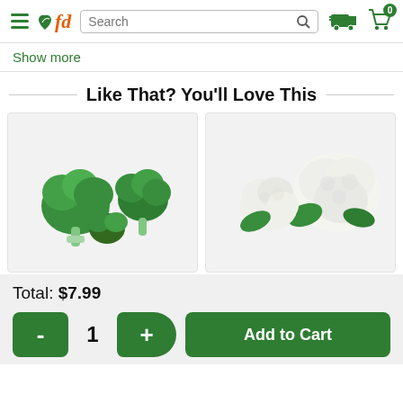fd [logo] Search [search bar] [delivery truck icon] [cart icon 0]
Show more
Like That? You'll Love This
[Figure (photo): Broccoli florets on white/light grey background]
[Figure (photo): Cauliflower pieces on white/light grey background]
Total: $7.99
- 1 + Add to Cart